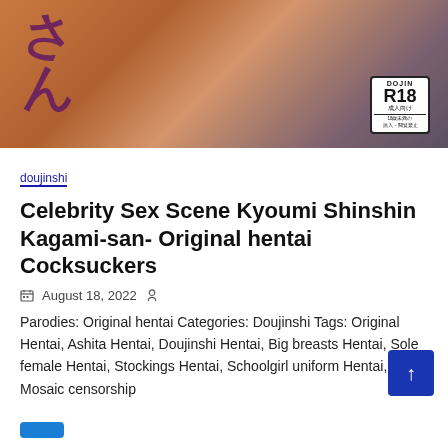[Figure (illustration): Manga/doujinshi cover art showing an anime-style character with Japanese text and a DOJIN R18 rating badge]
doujinshi
Celebrity Sex Scene Kyoumi Shinshin Kagami-san- Original hentai Cocksuckers
August 18, 2022
Parodies: Original hentai Categories: Doujinshi Tags: Original Hentai, Ashita Hentai, Doujinshi Hentai, Big breasts Hentai, Sole female Hentai, Stockings Hentai, Schoolgirl uniform Hentai, Mosaic censorship